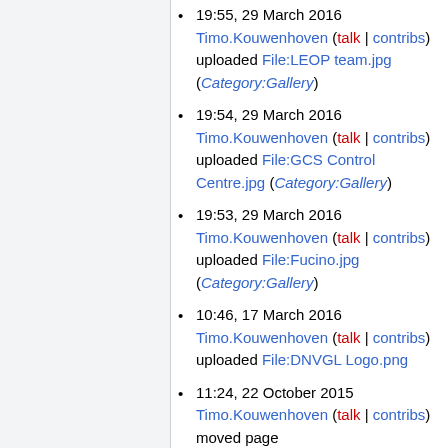19:55, 29 March 2016 Timo.Kouwenhoven (talk | contribs) uploaded File:LEOP team.jpg (Category:Gallery)
19:54, 29 March 2016 Timo.Kouwenhoven (talk | contribs) uploaded File:GCS Control Centre.jpg (Category:Gallery)
19:53, 29 March 2016 Timo.Kouwenhoven (talk | contribs) uploaded File:Fucino.jpg (Category:Gallery)
10:46, 17 March 2016 Timo.Kouwenhoven (talk | contribs) uploaded File:DNVGL Logo.png
11:24, 22 October 2015 Timo.Kouwenhoven (talk | contribs) moved page Template:NewsShowFiveItems to Template:NewsGetFiveItems without